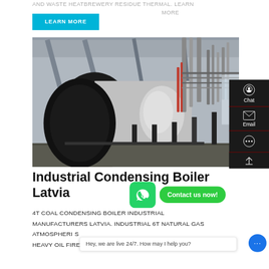AND WASTE HEATBREWERY RESIDUE THERMAL. LEARN MORE
LEARN MORE
[Figure (photo): Industrial condensing boiler photographed in a factory/warehouse setting, showing a large cylindrical silver pressure vessel with pipes, scaffolding, and industrial infrastructure]
Industrial Condensing Boiler Latvia
Chat
Email
Contact us now!
Hey, we are live 24/7. How may I help you?
4T COAL CONDENSING BOILER INDUSTRIAL MANUFACTURERS LATVIA. INDUSTRIAL 6T NATURAL GAS ATMOSPHERIC HEAVY OIL FIRED STEAM BOILER. TOP 10 CONDENS